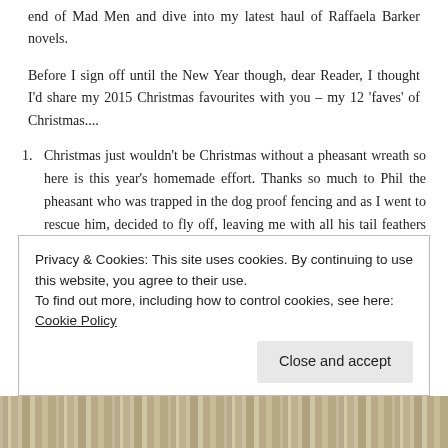end of Mad Men and dive into my latest haul of Raffaela Barker novels.
Before I sign off until the New Year though, dear Reader, I thought I'd share my 2015 Christmas favourites with you – my 12 'faves' of Christmas....
Christmas just wouldn't be Christmas without a pheasant wreath so here is this year's homemade effort. Thanks so much to Phil the pheasant who was trapped in the dog proof fencing and as I went to rescue him, decided to fly off, leaving me with all his tail feathers in my hand! Phil, I do hope you haven't
Privacy & Cookies: This site uses cookies. By continuing to use this website, you agree to their use.
To find out more, including how to control cookies, see here: Cookie Policy
[Figure (photo): Photo strip at bottom of page showing wooden background]